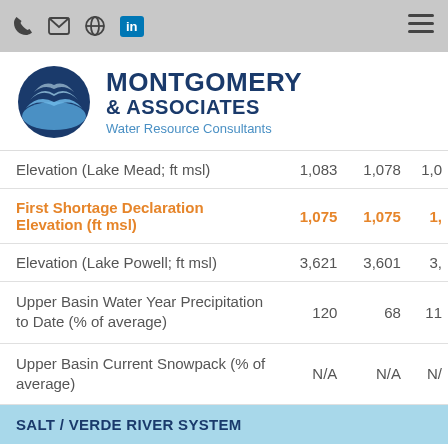Navigation bar with phone, email, globe, LinkedIn icons and hamburger menu
[Figure (logo): Montgomery & Associates Water Resource Consultants logo with blue globe/wave circle icon]
| Metric | Col1 | Col2 | Col3 |
| --- | --- | --- | --- |
| Elevation (Lake Mead; ft msl) | 1,083 | 1,078 | 1,0… |
| First Shortage Declaration Elevation (ft msl) | 1,075 | 1,075 | 1,0… |
| Elevation (Lake Powell; ft msl) | 3,621 | 3,601 | 3,… |
| Upper Basin Water Year Precipitation to Date (% of average) | 120 | 68 | 11… |
| Upper Basin Current Snowpack (% of average) | N/A | N/A | N/… |
| SALT / VERDE RIVER SYSTEM |  |  |  |
| Salt River Reservoirs (% full) | 75 | 52 | 70… |
| Verde River Reservoirs (% full) | 71 | 38 | … |